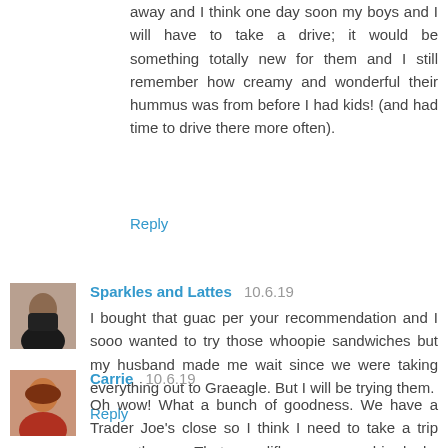away and I think one day soon my boys and I will have to take a drive; it would be something totally new for them and I still remember how creamy and wonderful their hummus was from before I had kids! (and had time to drive there more often).
Reply
Sparkles and Lattes  10.6.19
I bought that guac per your recommendation and I sooo wanted to try those whoopie sandwiches but my husband made me wait since we were taking everything out to Graeagle. But I will be trying them.
Reply
[Figure (photo): Avatar photo of Sparkles and Lattes commenter]
Carrie  10.6.19
Oh wow! What a bunch of goodness. We have a Trader Joe's close so I think I need to take a trip over there. That cauliflower gnoochi looks delicious...as well as everything else!
[Figure (photo): Avatar photo of Carrie commenter]